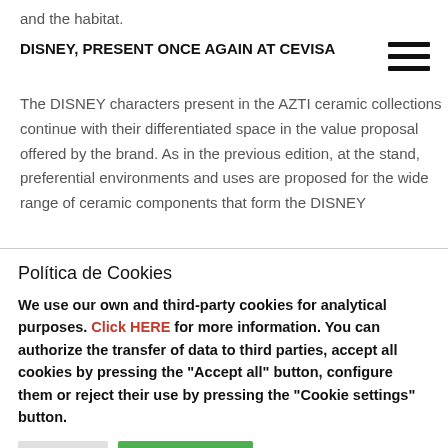and the habitat.
DISNEY, PRESENT ONCE AGAIN AT CEVISA
The DISNEY characters present in the AZTI ceramic collections continue with their differentiated space in the value proposal offered by the brand. As in the previous edition, at the stand, preferential environments and uses are proposed for the wide range of ceramic components that form the DISNEY
Política de Cookies
We use our own and third-party cookies for analytical purposes. Click HERE for more information. You can authorize the transfer of data to third parties, accept all cookies by pressing the "Accept all" button, configure them or reject their use by pressing the "Cookie settings" button.